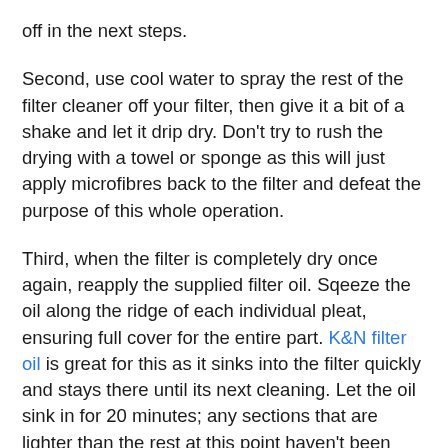off in the next steps.
Second, use cool water to spray the rest of the filter cleaner off your filter, then give it a bit of a shake and let it drip dry. Don't try to rush the drying with a towel or sponge as this will just apply microfibres back to the filter and defeat the purpose of this whole operation.
Third, when the filter is completely dry once again, reapply the supplied filter oil. Sqeeze the oil along the ridge of each individual pleat, ensuring full cover for the entire part. K&N filter oil is great for this as it sinks into the filter quickly and stays there until its next cleaning. Let the oil sink in for 20 minutes; any sections that are lighter than the rest at this point haven't been sufficiently covered in oil, so touch those up as needed.
And there you have it. Your air filter is as good as new, and ready for your next adventure.